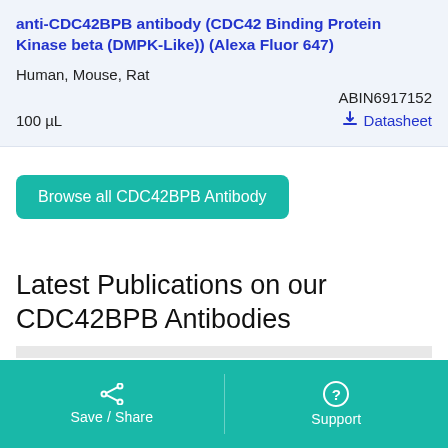anti-CDC42BPB antibody (CDC42 Binding Protein Kinase beta (DMPK-Like)) (Alexa Fluor 647)
Human, Mouse, Rat
ABIN6917152
100 µL
Datasheet
Browse all CDC42BPB Antibody
Latest Publications on our CDC42BPB Antibodies
Save / Share   Support